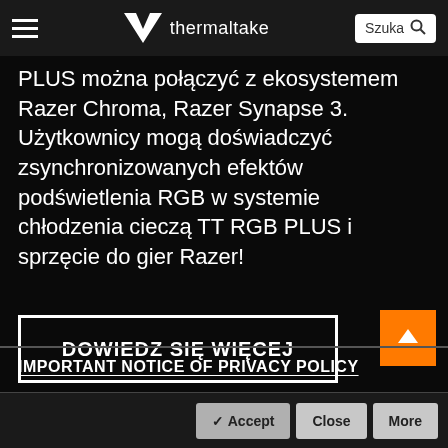thermaltake — Szuka
PLUS można połączyć z ekosystemem Razer Chroma, Razer Synapse 3. Użytkownicy mogą doświadczyć zsynchronizowanych efektów podświetlenia RGB w systemie chłodzenia cieczą TT RGB PLUS i sprzęcie do gier Razer!
DOWIEDZ SIĘ WIĘCEJ
IMPORTANT NOTICE OF PRIVACY POLICY
✔ Accept   Close   More